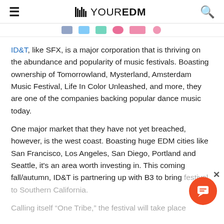YOUR EDM
[Figure (other): Social media icon strip (partially visible colored buttons/icons for various social networks)]
ID&T, like SFX, is a major corporation that is thriving on the abundance and popularity of music festivals. Boasting ownership of Tomorrowland, Mysterland, Amsterdam Music Festival, Life In Color Unleashed, and more, they are one of the companies backing popular dance music today.
One major market that they have not yet breached, however, is the west coast. Boasting huge EDM cities like San Francisco, Los Angeles, San Diego, Portland and Seattle, it's an area worth investing in. This coming fall/autumn, ID&T is partnering up with B3 to bring festival to Southern California.
Calling itself "One Tribe," the festival will take place